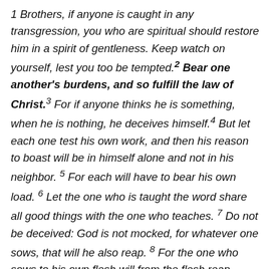1 Brothers, if anyone is caught in any transgression, you who are spiritual should restore him in a spirit of gentleness. Keep watch on yourself, lest you too be tempted. 2 Bear one another's burdens, and so fulfill the law of Christ. 3 For if anyone thinks he is something, when he is nothing, he deceives himself. 4 But let each one test his own work, and then his reason to boast will be in himself alone and not in his neighbor. 5 For each will have to bear his own load. 6 Let the one who is taught the word share all good things with the one who teaches. 7 Do not be deceived: God is not mocked, for whatever one sows, that will he also reap. 8 For the one who sows to his own flesh will from the flesh reap corruption, but the one who sows to the Spirit will from the Spirit reap eternal life. 9 And let us not grow weary of doing good, for in due season we will reap, if we do not give up. 10 So then,